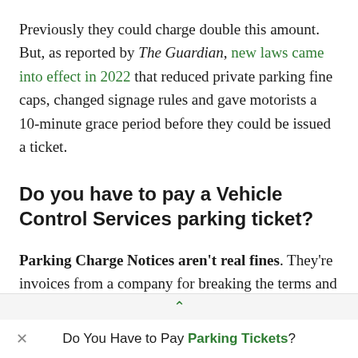Previously they could charge double this amount. But, as reported by The Guardian, new laws came into effect in 2022 that reduced private parking fine caps, changed signage rules and gave motorists a 10-minute grace period before they could be issued a ticket.
Do you have to pay a Vehicle Control Services parking ticket?
Parking Charge Notices aren't real fines. They're invoices from a company for breaking the terms and conditions of a c
Do You Have to Pay Parking Tickets?